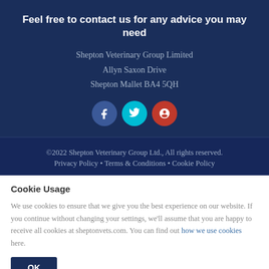Feel free to contact us for any advice you may need
Shepton Veterinary Group Limited
Allyn Saxon Drive
Shepton Mallet BA4 5QH
[Figure (illustration): Three social media icon circles: Facebook (dark blue), Twitter (cyan), Google+ (red)]
©2022 Shepton Veterinary Group Ltd., All rights reserved.
Privacy Policy • Terms & Conditions • Cookie Policy
Cookie Usage
We use cookies to ensure that we give you the best experience on our website. If you continue without changing your settings, we'll assume that you are happy to receive all cookies at sheptonvets.com. You can find out how we use cookies here.
OK